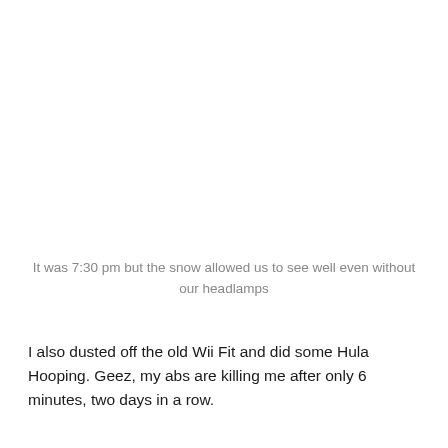It was 7:30 pm but the snow allowed us to see well even without our headlamps
I also dusted off the old Wii Fit and did some Hula Hooping. Geez, my abs are killing me after only 6 minutes, two days in a row.